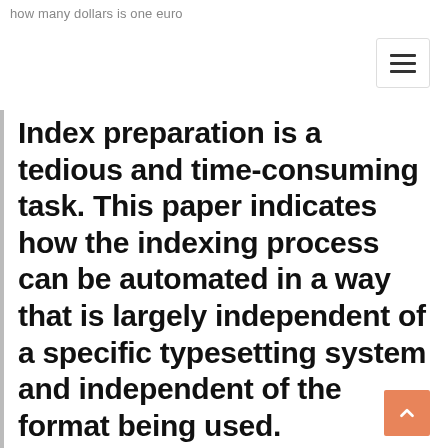how many dollars is one euro
Index preparation is a tedious and time-consuming task. This paper indicates how the indexing process can be automated in a way that is largely independent of a specific typesetting system and independent of the format being used. Fundamental issues related to this process are identified and analyzed. Specifically, we develop a framework for